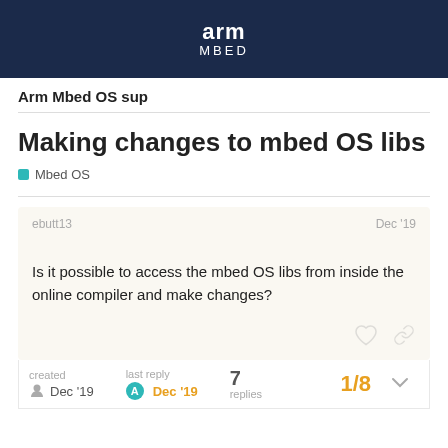arm MBED
Arm Mbed OS sup
Making changes to mbed OS libs
Mbed OS
ebutt13
Dec '19
Is it possible to access the mbed OS libs from inside the online compiler and make changes?
created Dec '19
last reply Dec '19
7 replies
1/8